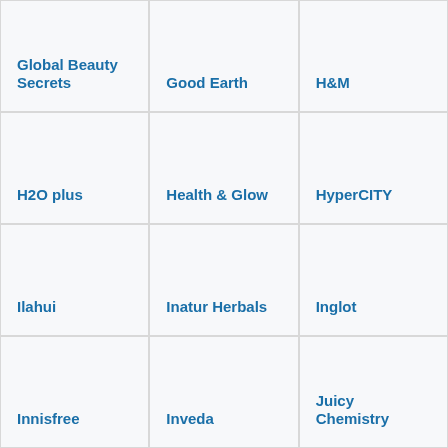Global Beauty Secrets
Good Earth
H&M
H2O plus
Health & Glow
HyperCITY
Ilahui
Inatur Herbals
Inglot
Innisfree
Inveda
Juicy Chemistry